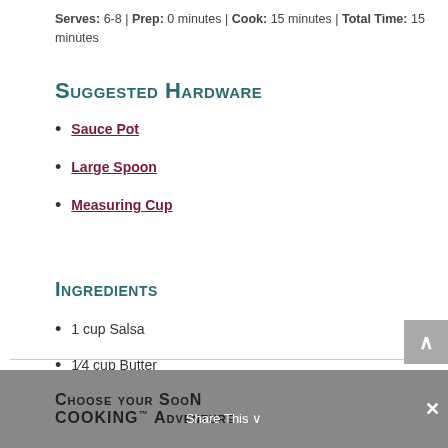Serves: 6-8 | Prep: 0 minutes | Cook: 15 minutes | Total Time: 15 minutes
Suggested Hardware
Sauce Pot
Large Spoon
Measuring Cup
Ingredients
1 cup Salsa
1/4 cup Butter
Choose your SooN Cooking™ Adventure